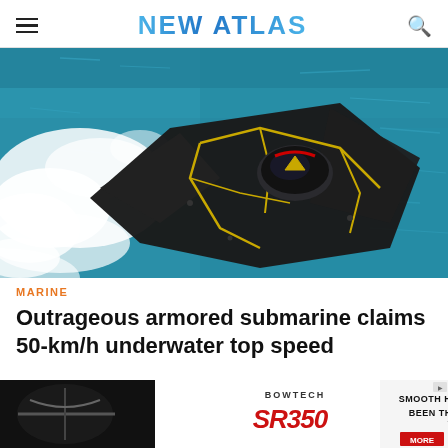NEW ATLAS
[Figure (photo): Aerial view of a dark armored manta-ray shaped submarine speeding through turquoise water, leaving a white wake. The vehicle has gold accent lines and a cockpit dome.]
MARINE
Outrageous armored submarine claims 50-km/h underwater top speed
[Figure (photo): Advertisement banner for Bowtech SR350 crossbow: 'SMOOTH HAS NEVER BEEN THIS FAST.' with MORE button.]